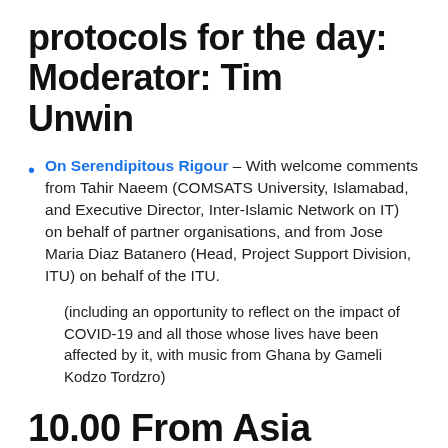protocols for the day: Moderator: Tim Unwin
On Serendipitous Rigour – With welcome comments from Tahir Naeem (COMSATS University, Islamabad, and Executive Director, Inter-Islamic Network on IT) on behalf of partner organisations, and from Jose Maria Diaz Batanero (Head, Project Support Division, ITU) on behalf of the ITU.
(including an opportunity to reflect on the impact of COVID-19 and all those whose lives have been affected by it, with music from Ghana by Gameli Kodzo Tordzro)
10.00 From Asia